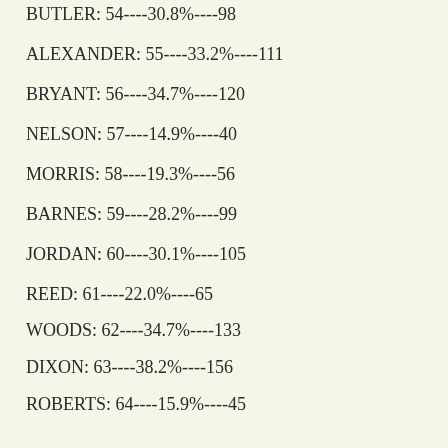BUTLER: 54----30.8%----98
ALEXANDER: 55----33.2%----111
BRYANT: 56----34.7%----120
NELSON: 57----14.9%----40
MORRIS: 58----19.3%----56
BARNES: 59----28.2%----99
JORDAN: 60----30.1%----105
REED: 61----22.0%----65
WOODS: 62----34.7%----133
DIXON: 63----38.2%----156
ROBERTS: 64----15.9%----45